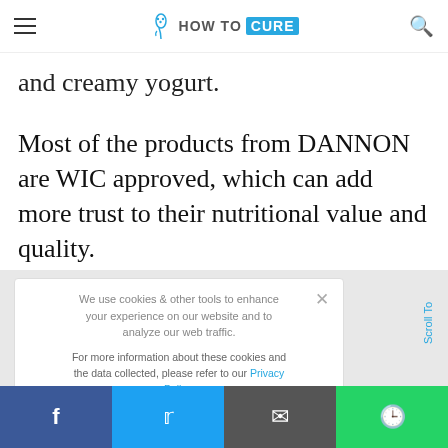HOW TO CURE
and creamy yogurt.
Most of the products from DANNON are WIC approved, which can add more trust to their nutritional value and quality.
We use cookies & other tools to enhance your experience on our website and to analyze our web traffic.

For more information about these cookies and the data collected, please refer to our Privacy Policy.

I ACCEPT USE OF COOKIES